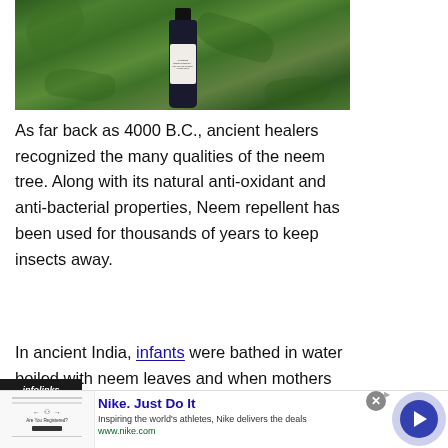[Figure (photo): A dark glass bottle of All-Natural Botanical Outdoor Spray with Aloe Vera and Neem, surrounded by green neem leaves]
As far back as 4000 B.C., ancient healers recognized the many qualities of the neem tree. Along with its natural anti-oxidant and anti-bacterial properties, Neem repellent has been used for thousands of years to keep insects away.
In ancient India, infants were bathed in water boiled with neem leaves and when mothers